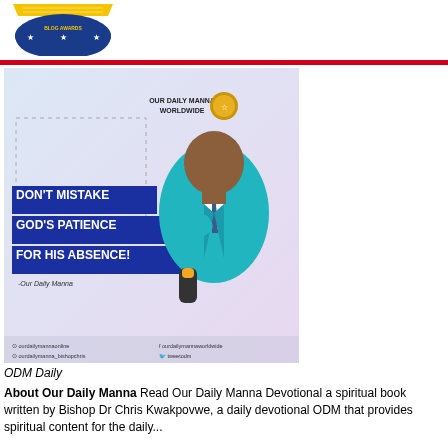[Figure (logo): Blue and gold circular badge logo with stars and yellow banner on top, likely 'Our Daily Manna' branding]
[Figure (photo): Promotional image for 'Our Daily Manna Worldwide' featuring a man in a teal suit holding a microphone, with text overlay reading 'DON'T MISTAKE GOD'S PATIENCE FOR HIS ABSENCE! -Our Daily Manna'. Social media handles shown at bottom.]
ODM Daily
About Our Daily Manna Read Our Daily Manna Devotional a spiritual book written by Bishop Dr Chris Kwakpovwe, a daily devotional ODM that provides spiritual content for the daily... (continues)